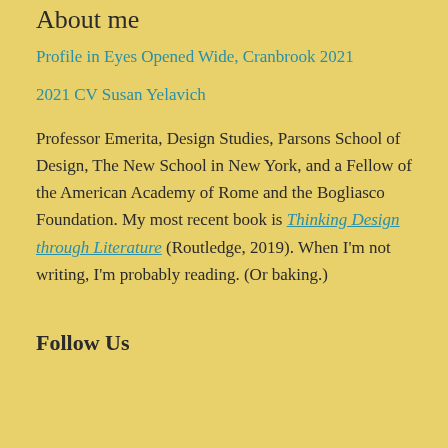About me
Profile in Eyes Opened Wide, Cranbrook 2021
2021 CV Susan Yelavich
Professor Emerita, Design Studies, Parsons School of Design, The New School in New York, and a Fellow of the American Academy of Rome and the Bogliasco Foundation. My most recent book is Thinking Design through Literature (Routledge, 2019). When I'm not writing, I'm probably reading. (Or baking.)
Follow Us